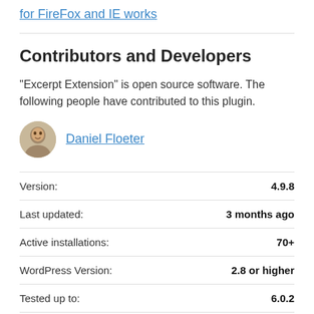for FireFox and IE works
Contributors and Developers
“Excerpt Extension” is open source software. The following people have contributed to this plugin.
Daniel Floeter
|  |  |
| --- | --- |
| Version: | 4.9.8 |
| Last updated: | 3 months ago |
| Active installations: | 70+ |
| WordPress Version: | 2.8 or higher |
| Tested up to: | 6.0.2 |